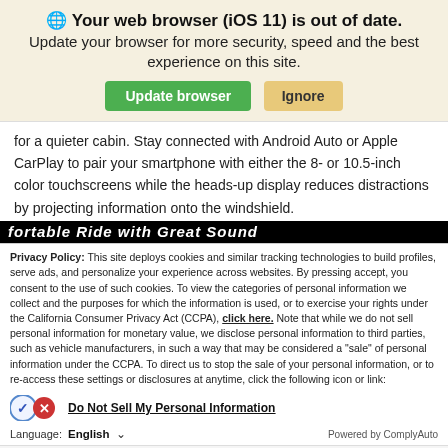Your web browser (iOS 11) is out of date. Update your browser for more security, speed and the best experience on this site.
for a quieter cabin. Stay connected with Android Auto or Apple CarPlay to pair your smartphone with either the 8- or 10.5-inch color touchscreens while the heads-up display reduces distractions by projecting information onto the windshield.
Privacy Policy: This site deploys cookies and similar tracking technologies to build profiles, serve ads, and personalize your experience across websites. By pressing accept, you consent to the use of such cookies. To view the categories of personal information we collect and the purposes for which the information is used, or to exercise your rights under the California Consumer Privacy Act (CCPA), click here. Note that while we do not sell personal information for monetary value, we disclose personal information to third parties, such as vehicle manufacturers, in such a way that may be considered a "sale" of personal information under the CCPA. To direct us to stop the sale of your personal information, or to re-access these settings or disclosures at anytime, click the following icon or link:
Do Not Sell My Personal Information
Language: English  Powered by ComplyAuto
Accept and Continue → California Privacy Disclosures ×